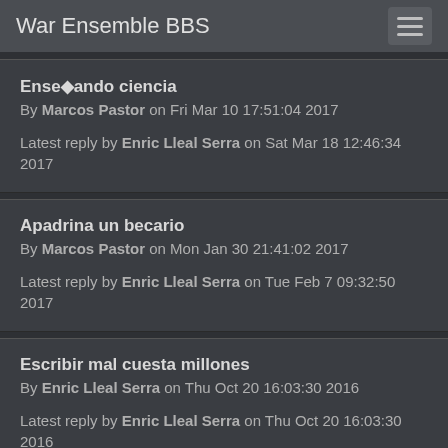War Ensemble BBS
Enseñando ciencia
By Marcos Pastor on Fri Mar 10 17:51:04 2017
Latest reply by Enric Lleal Serra on Sat Mar 18 12:46:34 2017
Apadrina un becario
By Marcos Pastor on Mon Jan 30 21:41:02 2017
Latest reply by Enric Lleal Serra on Tue Feb 7 09:32:50 2017
Escribir mal cuesta millones
By Enric Lleal Serra on Thu Oct 20 16:03:30 2016
Latest reply by Enric Lleal Serra on Thu Oct 20 16:03:30 2016
Juegos en el aula